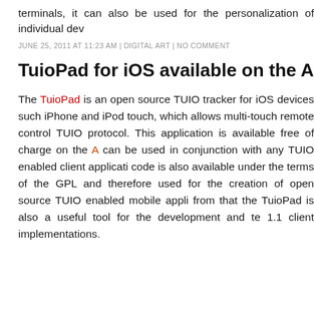terminals, it can also be used for the personalization of individual dev
JUNE 25, 2011 AT 11:23 AM | DIGITAL ART | NO COMMENT
TuioPad for iOS available on the AppStore Februa
The TuioPad is an open source TUIO tracker for iOS devices such iPhone and iPod touch, which allows multi-touch remote control TUIO protocol. This application is available free of charge on the A can be used in conjunction with any TUIO enabled client applicati code is also available under the terms of the GPL and therefore used for the creation of open source TUIO enabled mobile appli from that the TuioPad is also a useful tool for the development and te 1.1 client implementations.